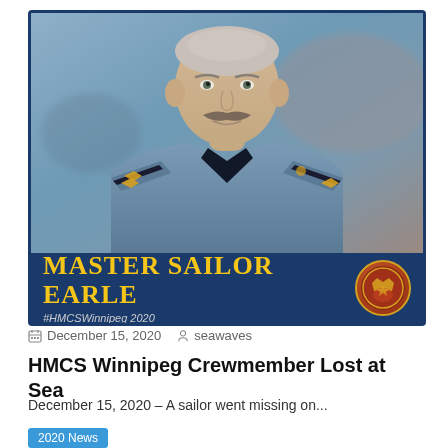[Figure (photo): Portrait photo of Master Sailor Earle in Canadian Navy uniform (light blue/grey shirt with gold chevrons on shoulder epaulettes), against a blurred background. Blue card frame with dark navy banner at bottom reading 'MASTER SAILOR EARLE' in gold text, with '#HMCSWinnipeg 2020' in lighter text and a circular badge/crest on the right.]
December 15, 2020   seawaves
HMCS Winnipeg Crewmember Lost at Sea
December 15, 2020 – A sailor went missing on...
2020 News